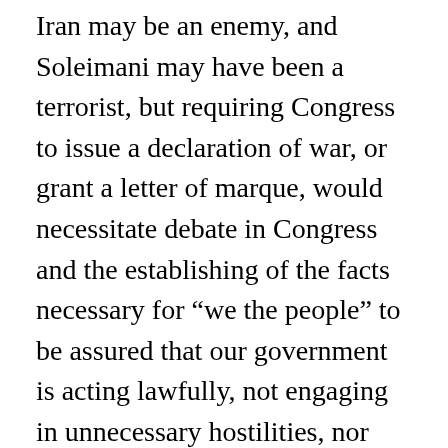Iran may be an enemy, and Soleimani may have been a terrorist, but requiring Congress to issue a declaration of war, or grant a letter of marque, would necessitate debate in Congress and the establishing of the facts necessary for “we the people” to be assured that our government is acting lawfully, not engaging in unnecessary hostilities, nor assassinating persons whose actions do not rise to the occasion. Such debate and establishing of facts would go a long way toward building public trust and support for our government’s actions.
And this isn’t just about Soleimani, Iran, or Trump. This is about Trump. Obama, and...